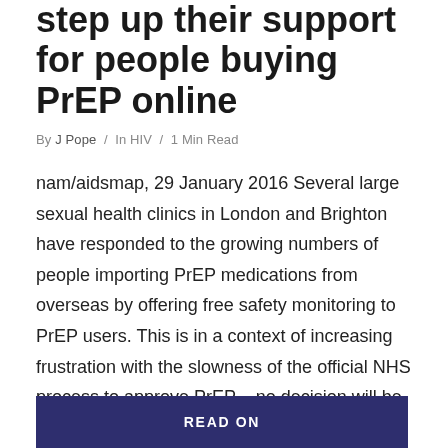step up their support for people buying PrEP online
By J Pope / In HIV / 1 Min Read
nam/aidsmap, 29 January 2016 Several large sexual health clinics in London and Brighton have responded to the growing numbers of people importing PrEP medications from overseas by offering free safety monitoring to PrEP users. This is in a context of increasing frustration with the slowness of the official NHS process to approve PrEP – no decision will be made until June at the earliest. Read...
READ ON